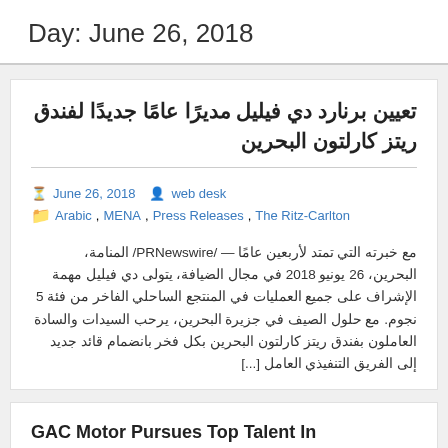Day: June 26, 2018
تعيين برنارد دي فيليل مديرًا عامًا جديدًا لفندق ريتز كارلتون البحرين
June 26, 2018   web desk   Arabic, MENA, Press Releases, The Ritz-Carlton
المنامة، البحرين، 26 يونيو 2018 /PRNewswire/ — مع خبرته التي تمتد لأربعين عامًا في مجال الضيافة، يتولى دي فيليل مهمة الإشراف على جميع العمليات في المنتجع الساحلي الفاخر من فئة 5 نجوم. مع حلول الصيف في جزيرة البحرين، يرحب السيدات والسادة العاملون بفندق ريتز كارلتون البحرين بكل فخر بانضمام قائد جديد إلى الفريق التنفيذي العامل [...]
GAC Motor Pursues Top Talent In Europe In Preparation for Global Expansion
June 26, 2018   web desk